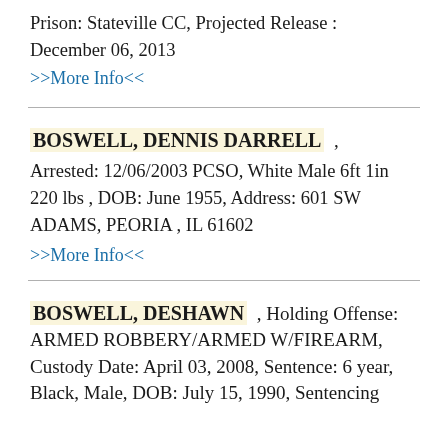Prison: Stateville CC, Projected Release : December 06, 2013
>>More Info<<
BOSWELL, DENNIS DARRELL , Arrested: 12/06/2003 PCSO, White Male 6ft 1in 220 lbs , DOB: June 1955, Address: 601 SW ADAMS, PEORIA , IL 61602
>>More Info<<
BOSWELL, DESHAWN , Holding Offense: ARMED ROBBERY/ARMED W/FIREARM, Custody Date: April 03, 2008, Sentence: 6 year, Black, Male, DOB: July 15, 1990, Sentencing